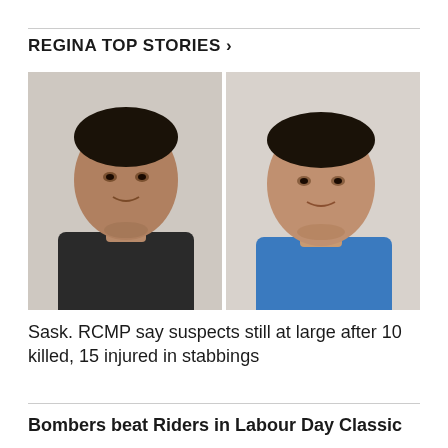REGINA TOP STORIES >
[Figure (photo): Two mugshot-style photos side by side: left shows a young man in a dark shirt against a white wall background; right shows a man in a blue shirt against a light background.]
Sask. RCMP say suspects still at large after 10 killed, 15 injured in stabbings
Bombers beat Riders in Labour Day Classic